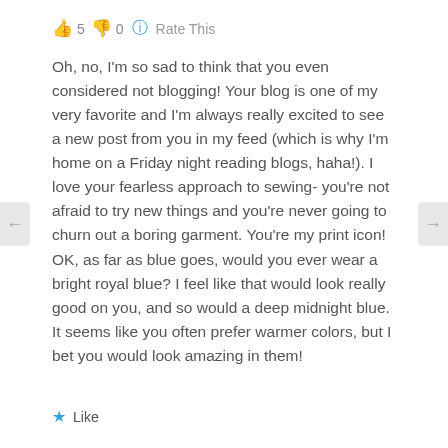👍 5  👎 0  ℹ️  Rate This
Oh, no, I'm so sad to think that you even considered not blogging! Your blog is one of my very favorite and I'm always really excited to see a new post from you in my feed (which is why I'm home on a Friday night reading blogs, haha!). I love your fearless approach to sewing- you're not afraid to try new things and you're never going to churn out a boring garment. You're my print icon!
OK, as far as blue goes, would you ever wear a bright royal blue? I feel like that would look really good on you, and so would a deep midnight blue. It seems like you often prefer warmer colors, but I bet you would look amazing in them!
★ Like